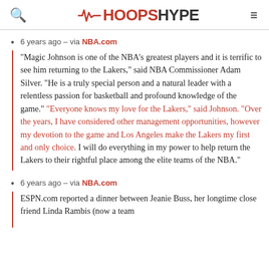HOOPSHYPE
6 years ago – via NBA.com
"Magic Johnson is one of the NBA's greatest players and it is terrific to see him returning to the Lakers," said NBA Commissioner Adam Silver. "He is a truly special person and a natural leader with a relentless passion for basketball and profound knowledge of the game." "Everyone knows my love for the Lakers," said Johnson. "Over the years, I have considered other management opportunities, however my devotion to the game and Los Angeles make the Lakers my first and only choice. I will do everything in my power to help return the Lakers to their rightful place among the elite teams of the NBA."
6 years ago – via NBA.com
ESPN.com reported a dinner between Jeanie Buss, her longtime close friend Linda Rambis (now a team